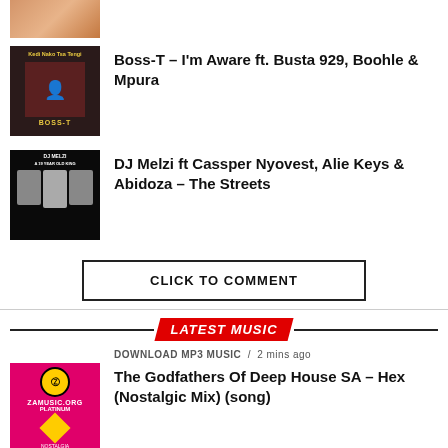[Figure (photo): Partial thumbnail of a music single at top]
[Figure (photo): Boss-T album art – dark background with text 'Kedi Nako Tsa Tengi' and 'BOSS-T']
Boss-T – I'm Aware ft. Busta 929, Boohle & Mpura
[Figure (photo): DJ Melzi album art – three figures with crowns on black background, text 'DJ MELZI A 19 YEAR OLD KING']
DJ Melzi ft Cassper Nyovest, Alie Keys & Abidoza – The Streets
CLICK TO COMMENT
LATEST MUSIC
DOWNLOAD MP3 MUSIC / 2 mins ago
[Figure (photo): The Godfathers Of Deep House SA album art – pink background with yellow diamond logo, ZAMUSIC.ORG PLATINUM NOSTALGIA]
The Godfathers Of Deep House SA – Hex (Nostalgic Mix) (song)